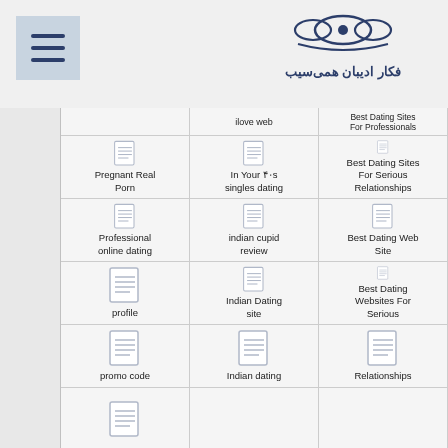[Figure (logo): Persian website logo with decorative text and bow graphic]
| Col1 | Col2 | Col3 |
| --- | --- | --- |
| [icon] | ilove web | [icon] Best Dating Sites For Professionals |
| [icon] Pregnant Real Porn | [icon] In Your ۴۰s singles dating | [icon] Best Dating Sites For Serious Relationships |
| [icon] Professional online dating | [icon] indian cupid review | [icon] Best Dating Web Site |
| [icon] profile | [icon] Indian Dating site | [icon] Best Dating Websites For Serious |
| [icon] promo code | [icon] Indian dating | [icon] Relationships |